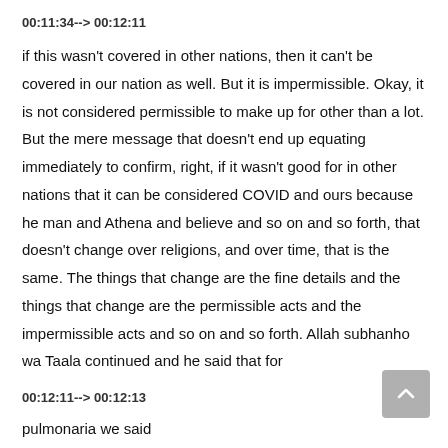00:11:34--> 00:12:11
if this wasn't covered in other nations, then it can't be covered in our nation as well. But it is impermissible. Okay, it is not considered permissible to make up for other than a lot. But the mere message that doesn't end up equating immediately to confirm, right, if it wasn't good for in other nations that it can be considered COVID and ours because he man and Athena and believe and so on and so forth, that doesn't change over religions, and over time, that is the same. The things that change are the fine details and the things that change are the permissible acts and the impermissible acts and so on and so forth. Allah subhanho wa Taala continued and he said that for
00:12:11--> 00:12:13
pulmonaria we said